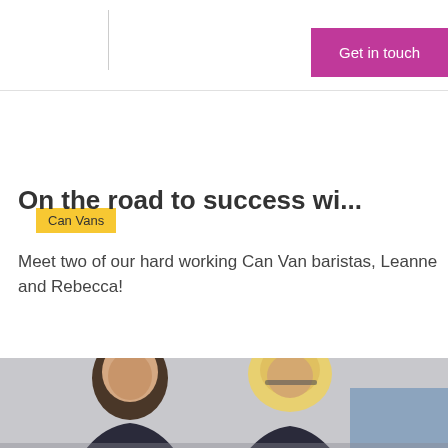Get in touch
Can Vans
On the road to success wi...
Meet two of our hard working Can Van baristas, Leanne and Rebecca!
[Figure (photo): Two people, one with dark hair and one with light/blonde hair, photographed from the shoulders up in what appears to be a professional or work setting.]